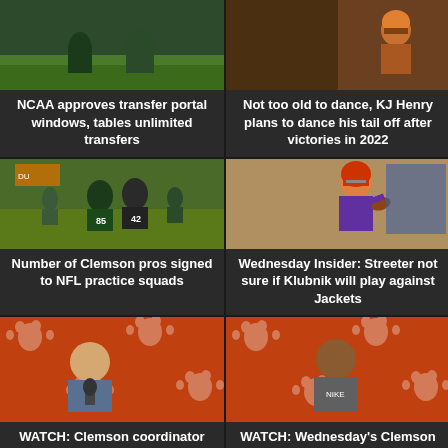[Figure (photo): Sports news article thumbnail - NCAA transfer portal]
NCAA approves transfer portal windows, tables unlimited transfers
[Figure (photo): Sports news article thumbnail - KJ Henry dancing]
Not too old to dance, KJ Henry plans to dance his tail off after victories in 2022
[Figure (photo): NFL practice squad - players in green Eagles uniforms scrimmaging]
Number of Clemson pros signed to NFL practice squads
[Figure (photo): Quarterback in purple Clemson uniform throwing football]
Wednesday Insider: Streeter not sure if Klubnik will play against Jackets
[Figure (photo): Clemson coordinator at press conference with orange Clemson paw print backdrop]
WATCH: Clemson coordinator interviews on Wednesday
[Figure (photo): Clemson player at press conference with orange Clemson paw print backdrop]
WATCH: Wednesday's Clemson player interviews